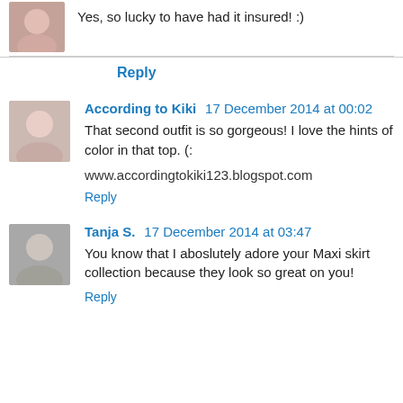Yes, so lucky to have had it insured! :)
Reply
According to Kiki  17 December 2014 at 00:02
That second outfit is so gorgeous! I love the hints of color in that top. (:
www.accordingtokiki123.blogspot.com
Reply
Tanja S.  17 December 2014 at 03:47
You know that I aboslutely adore your Maxi skirt collection because they look so great on you!
Reply